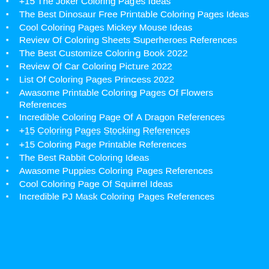+15 The Joker Coloring Pages Ideas
The Best Dinosaur Free Printable Coloring Pages Ideas
Cool Coloring Pages Mickey Mouse Ideas
Review Of Coloring Sheets Superheroes References
The Best Customize Coloring Book 2022
Review Of Car Coloring Picture 2022
List Of Coloring Pages Princess 2022
Awasome Printable Coloring Pages Of Flowers References
Incredible Coloring Page Of A Dragon References
+15 Coloring Pages Stocking References
+15 Coloring Page Printable References
The Best Rabbit Coloring Ideas
Awasome Puppies Coloring Pages References
Cool Coloring Page Of Squirrel Ideas
Incredible PJ Mask Coloring Pages References